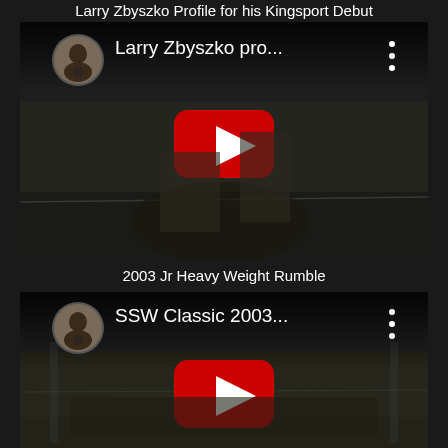Larry Zbyszko Profile for his Kingsport Debut
[Figure (screenshot): YouTube video thumbnail showing 'Larry Zbyszko pro...' with channel avatar, play button, and wrestling match footage in dark background]
2003 Jr Heavy Weight Rumble
[Figure (screenshot): YouTube video thumbnail showing 'SSW Classic 2003...' with channel avatar, play button, and wrestling match footage in dark background]